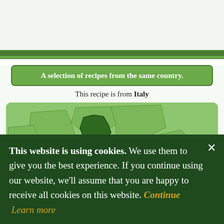A selection of recipes from the same country.
This recipe is from Italy
[Figure (map): Map of Europe with Italy highlighted in dark green, showing the boot-shaped Italian peninsula and surrounding Mediterranean region against a lighter green background.]
This website is using cookies. We use them to give you the best experience. If you continue using our website, we'll assume that you are happy to receive all cookies on this website. Continue Learn more